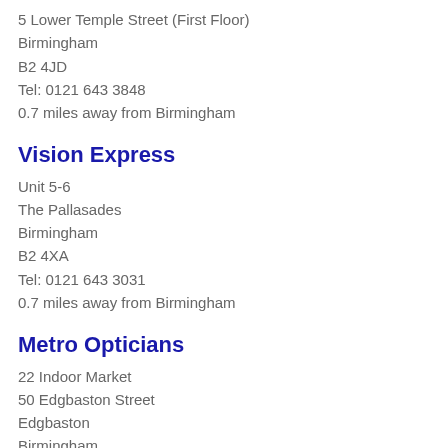5 Lower Temple Street (First Floor)
Birmingham
B2 4JD
Tel: 0121 643 3848
0.7 miles away from Birmingham
Vision Express
Unit 5-6
The Pallasades
Birmingham
B2 4XA
Tel: 0121 643 3031
0.7 miles away from Birmingham
Metro Opticians
22 Indoor Market
50 Edgbaston Street
Edgbaston
Birmingham
B5 4RO